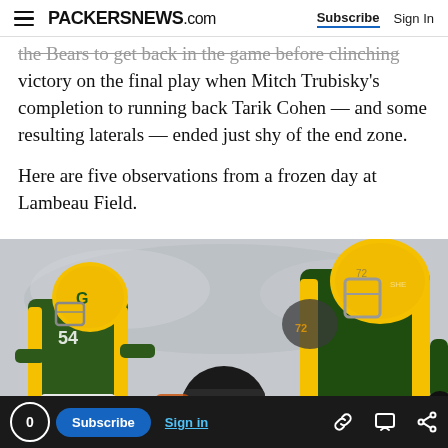PACKERSNEWS.com  Subscribe  Sign In
the Bears to get back in the game before clinching victory on the final play when Mitch Trubisky's completion to running back Tarik Cohen — and some resulting laterals — ended just shy of the end zone.
Here are five observations from a frozen day at Lambeau Field.
[Figure (photo): Green Bay Packers players in green and yellow uniforms engage with Chicago Bears players in a football game played in cold weather at Lambeau Field.]
0  Subscribe  Sign in